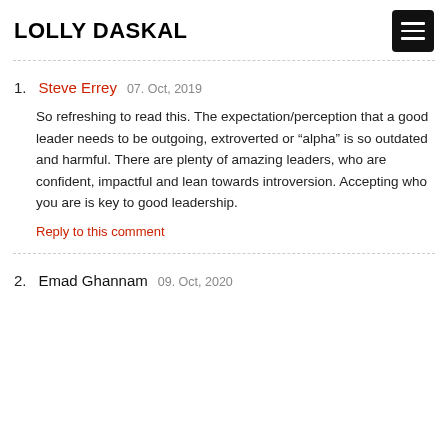LOLLY DASKAL
1. Steve Errey  07. Oct, 2019
So refreshing to read this. The expectation/perception that a good leader needs to be outgoing, extroverted or “alpha” is so outdated and harmful. There are plenty of amazing leaders, who are confident, impactful and lean towards introversion. Accepting who you are is key to good leadership.
Reply to this comment
2. Emad Ghannam  09. Oct, 2020